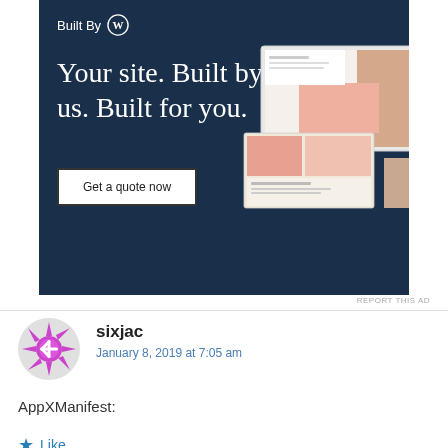[Figure (screenshot): WordPress 'Built By' advertisement banner with dark navy background. Shows 'Built By WordPress logo' at top, headline 'Your site. Built by us. Built for you.' in large serif white text, a 'Get a quote now' button with white background, and mock website screenshots on the right side.]
REPORT THIS AD
sixjac
January 8, 2019 at 7:05 am
AppXManifest:
Like